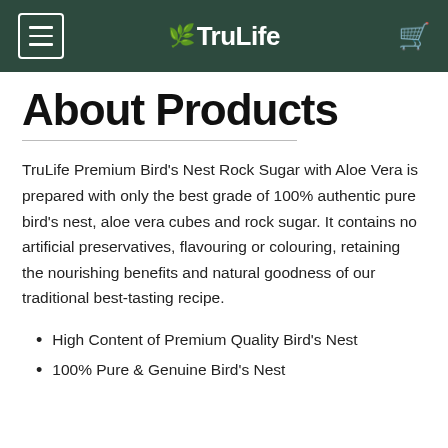TruLife
About Products
TruLife Premium Bird's Nest Rock Sugar with Aloe Vera is prepared with only the best grade of 100% authentic pure bird's nest, aloe vera cubes and rock sugar. It contains no artificial preservatives, flavouring or colouring, retaining the nourishing benefits and natural goodness of our traditional best-tasting recipe.
High Content of Premium Quality Bird's Nest
100% Pure & Genuine Bird's Nest